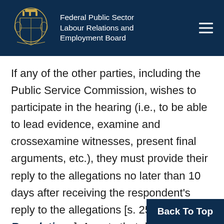Federal Public Sector Labour Relations and Employment Board
If any of the other parties, including the Public Service Commission, wishes to participate in the hearing (i.e., to be able to lead evidence, examine and crossexamine witnesses, present final arguments, etc.), they must provide their reply to the allegations no later than 10 days after receiving the respondent's reply to the allegations [s. 25 of the Regulations]. A party that does not provide a reply may still atte